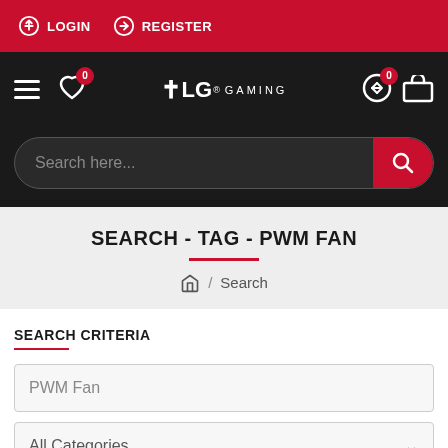LOGIN  REGISTER
[Figure (screenshot): Navigation bar with hamburger menu, heart icon with badge 0, TLG Gaming logo, swap icon with badge 0, and cart icon]
Search here...
SEARCH - TAG - PWM FAN
Home / Search
SEARCH CRITERIA
PWM Fan
All Categories
Search in subcategories
Search in product descriptions